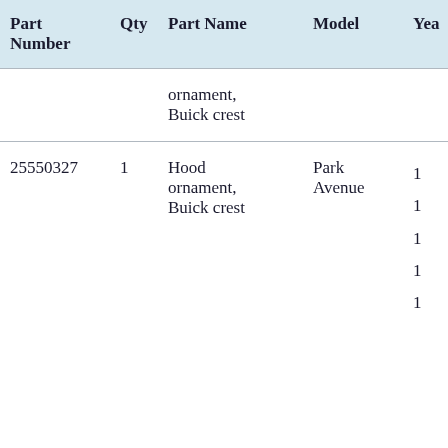| Part Number | Qty | Part Name | Model | Year |
| --- | --- | --- | --- | --- |
|  |  | ornament, Buick crest |  |  |
| 25550327 | 1 | Hood ornament, Buick crest | Park Avenue | 1…
1…
1…
1…
1… |